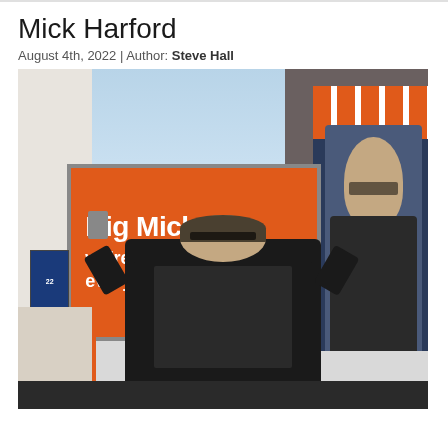Mick Harford
August 4th, 2022 | Author: Steve Hall
[Figure (photo): A man standing with both arms raised in front of an orange billboard that reads 'Big Mick. we're with you every step.' The billboard is on the exterior wall of a building. In the background there is a larger poster of a man in a jacket. The scene appears to be outside a football club.]